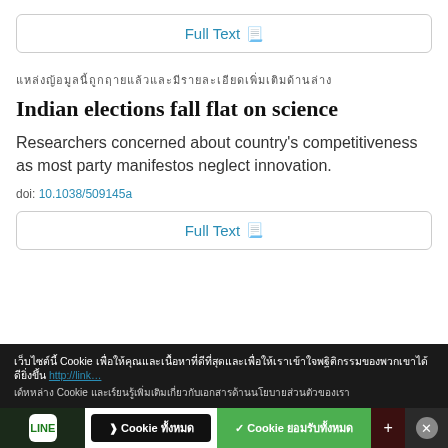Full Text
▬▬▬▬▬▬▬▬▬▬▬▬▬▬▬▬▬▬▬▬▬▬▬▬▬▬▬▬▬▬▬▬▬▬▬▬▬▬
Indian elections fall flat on science
Researchers concerned about country's competitiveness as most party manifestos neglect innovation.
doi: 10.1038/509145a
Full Text
Cookie banner with Thai text and accept/decline buttons